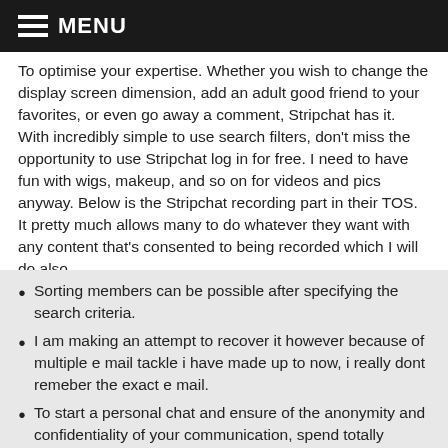MENU
To optimise your expertise. Whether you wish to change the display screen dimension, add an adult good friend to your favorites, or even go away a comment, Stripchat has it. With incredibly simple to use search filters, don't miss the opportunity to use Stripchat log in for free. I need to have fun with wigs, makeup, and so on for videos and pics anyway. Below is the Stripchat recording part in their TOS. It pretty much allows many to do whatever they want with any content that's consented to being recorded which I will do also.
Sorting members can be possible after specifying the search criteria.
I am making an attempt to recover it however because of multiple e mail tackle i have made up to now, i really dont remeber the exact e mail.
To start a personal chat and ensure of the anonymity and confidentiality of your communication, spend totally different quantities of tokens.